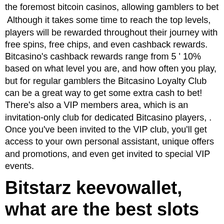the foremost bitcoin casinos, allowing gamblers to bet
Although it takes some time to reach the top levels, players will be rewarded throughout their journey with free spins, free chips, and even cashback rewards. Bitcasino's cashback rewards range from 5 ' 10% based on what level you are, and how often you play, but for regular gamblers the Bitcasino Loyalty Club can be a great way to get some extra cash to bet! There's also a VIP members area, which is an invitation-only club for dedicated Bitcasino players, . Once you've been invited to the VIP club, you'll get access to your own personal assistant, unique offers and promotions, and even get invited to special VIP events.
Bitstarz keevowallet, what are the best slots
Enthusiast about blockchain, tech in general